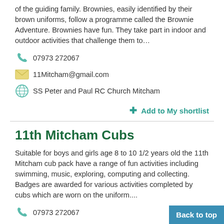of the guiding family. Brownies, easily identified by their brown uniforms, follow a programme called the Brownie Adventure. Brownies have fun. They take part in indoor and outdoor activities that challenge them to…
07973 272067
11Mitcham@gmail.com
SS Peter and Paul RC Church Mitcham
+ Add to My shortlist
11th Mitcham Cubs
Suitable for boys and girls age 8 to 10 1/2 years old the 11th Mitcham cub pack have a range of fun activities including swimming, music, exploring, computing and collecting. Badges are awarded for various activities completed by cubs which are worn on the uniform....
07973 272067
11Mitcham@gmail.com
SS Peter & Paul RC Church
+ Add to My shortlist
Back to top